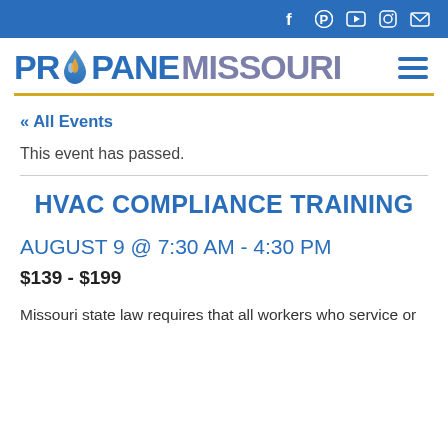Propane Missouri – social bar with Facebook, Pinterest, YouTube, Instagram, Email icons
[Figure (logo): Propane Missouri logo with blue flame drop icon, PROPANE in blue bold uppercase and MISSOURI in purple-gray bold uppercase, with hamburger menu icon on the right]
« All Events
This event has passed.
HVAC COMPLIANCE TRAINING
AUGUST 9 @ 7:30 AM - 4:30 PM
$139 - $199
Missouri state law requires that all workers who service or